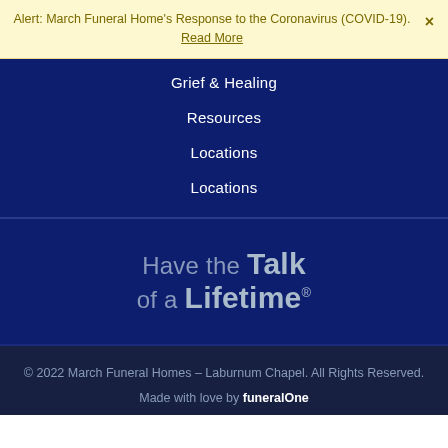Alert: March Funeral Home's Response to the Coronavirus (COVID-19). Read More ×
Grief & Healing
Resources
Locations
Locations
[Figure (logo): Have the Talk of a Lifetime logo — stylized text in muted blue-grey on dark navy background]
© 2022 March Funeral Homes – Laburnum Chapel. All Rights Reserved. Made with love by funeralOne